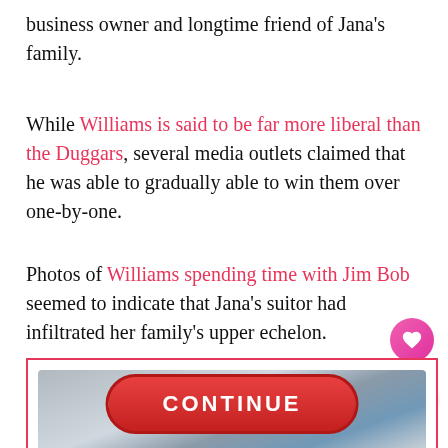business owner and longtime friend of Jana's family.
While Williams is said to be far more liberal than the Duggars, several media outlets claimed that he was able to gradually able to win them over one-by-one.
Photos of Williams spending time with Jim Bob seemed to indicate that Jana's suitor had infiltrated her family's upper echelon.
[Figure (photo): Partial photo visible at bottom of page with a red CONTINUE button overlay]